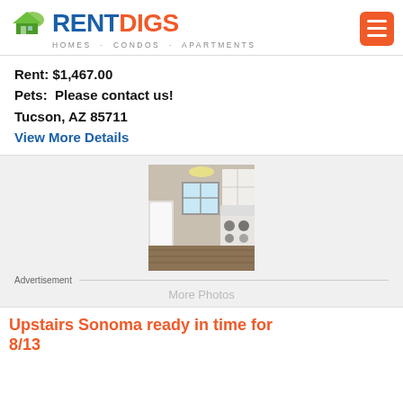[Figure (logo): RentDigs logo with house icon, blue RENT and orange DIGS text, subtitle HOMES · CONDOS · APARTMENTS]
Rent: $1,467.00
Pets:  Please contact us!
Tucson, AZ 85711
View More Details
[Figure (photo): Interior photo of a narrow kitchen with white cabinets, window, stove, and wood-look flooring]
Advertisement
More Photos
Upstairs Sonoma ready in time for 8/13